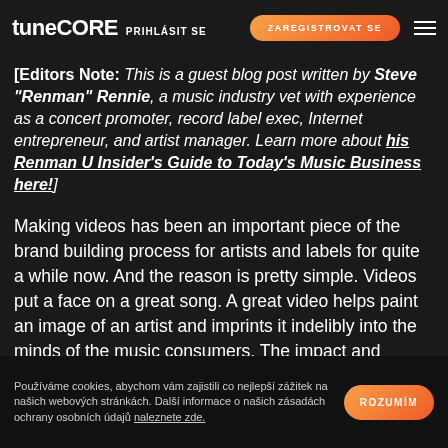TuneCore | PRIHLASIT SE | ZAREGISTROVAT SE
[Editors Note: This is a guest blog post written by Steve "Renman" Rennie, a music industry vet with experience as a concert promoter, record label exec, Internet entrepreneur, and artist manager. Learn more about his Renman U Insider's Guide to Today's Music Business here!]
Making videos has been an important piece of the brand building process for artists and labels for quite a while now. And the reason is pretty simple. Videos put a face on a great song. A great video helps paint an image of an artist and imprints it indelibly into the minds of the music consumers. The impact and
Používáme cookies, abychom vám zajistili co nejlepší zážitek na našich webových stránkách. Další informace o našich zásadách ochrany osobních údajů naleznete zde.